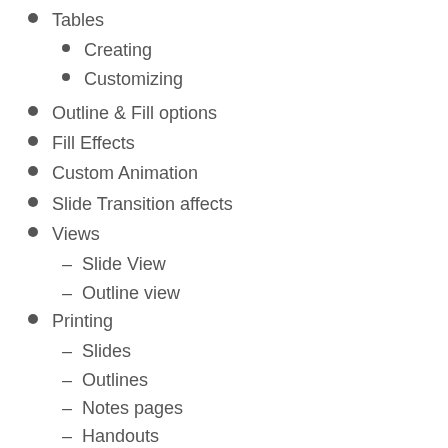Tables
Creating
Customizing
Outline & Fill options
Fill Effects
Custom Animation
Slide Transition affects
Views
– Slide View
– Outline view
Printing
– Slides
– Outlines
– Notes pages
– Handouts
Sections
Looping Continuously